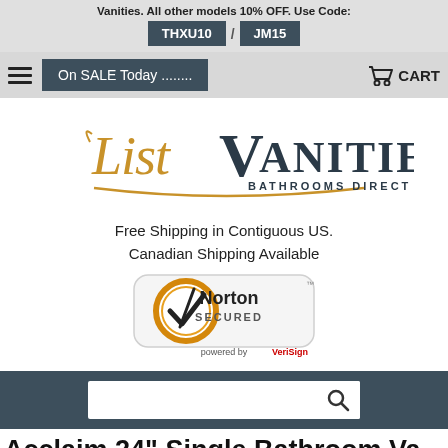Vanities. All other models 10% OFF. Use Code: THXU10 / JM15
On SALE Today ........ CART
[Figure (logo): ListVanities Bathrooms Direct logo with decorative gold script and dark serif text]
Free Shipping in Contiguous US. Canadian Shipping Available
[Figure (logo): Norton Secured powered by VeriSign badge]
[Figure (screenshot): Search bar input field with magnifying glass icon]
Acclaim 24" Single Bathroom Va...